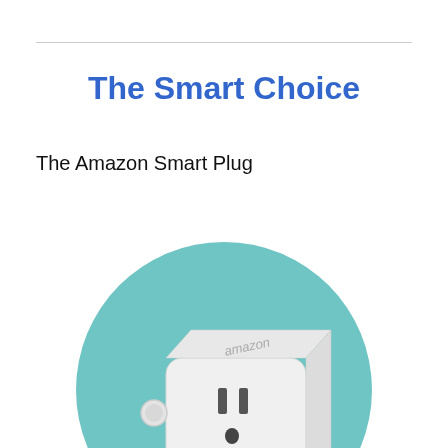The Smart Choice
The Amazon Smart Plug
[Figure (photo): Amazon Smart Plug — a white rectangular smart plug with a standard US two-prong outlet face and a round button on the side, displayed on a teal/light-blue circular background.]